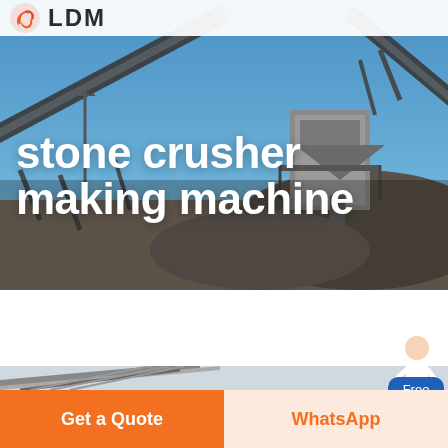LDM
[Figure (photo): Stone crusher industrial facility with conveyor belts and aggregate piles under blue sky]
stone crusher making machine
[Figure (photo): Partial view of industrial conveyor belt structure against light sky]
Free chat